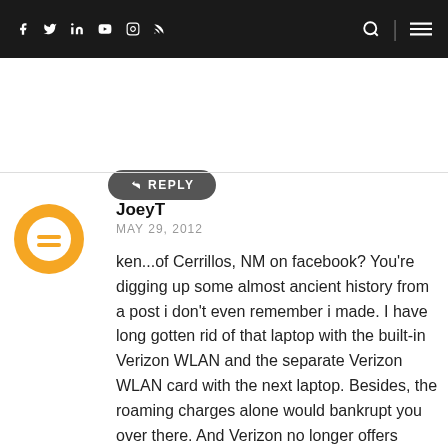f  tw  in  yt  ig  rss  [search] [menu]
↩ REPLY
JoeyT
MAY 29, 2012

ken...of Cerrillos, NM on facebook? You're digging up some almost ancient history from a post i don't even remember i made. I have long gotten rid of that laptop with the built-in Verizon WLAN and the separate Verizon WLAN card with the next laptop. Besides, the roaming charges alone would bankrupt you over there. And Verizon no longer offers unlimited thruput. Best to get a WLAN card